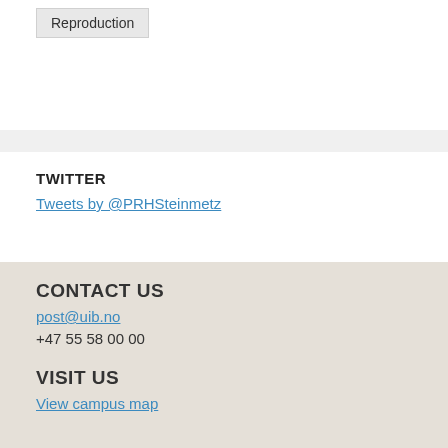[Figure (other): Button labeled 'Reproduction' on white background]
TWITTER
Tweets by @PRHSteinmetz
CONTACT US
post@uib.no
+47 55 58 00 00
VISIT US
View campus map